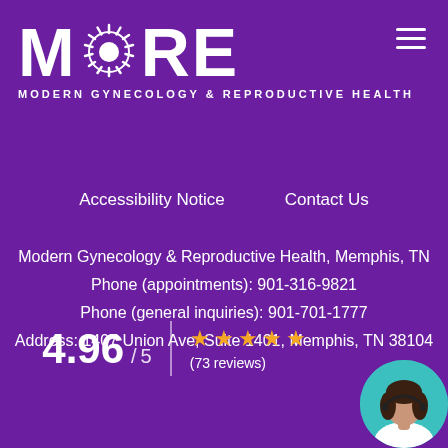[Figure (logo): MORE Modern Gynecology & Reproductive Health logo with circular sunburst design replacing the O]
[Figure (other): Hamburger menu icon (three horizontal lines) in top right corner]
Accessibility Notice    Contact Us
Modern Gynecology & Reproductive Health, Memphis, TN
Phone (appointments): 901-316-9821
Phone (general inquiries): 901-701-1777
Address: 1407 Union Ave, Suite 1401, Memphis, TN 38104
4.96 / 5  ★★★★★ (73 reviews)
[Figure (photo): Circular avatar photo of a woman with dark hair wearing a headset, teal/cyan background, positioned bottom right]